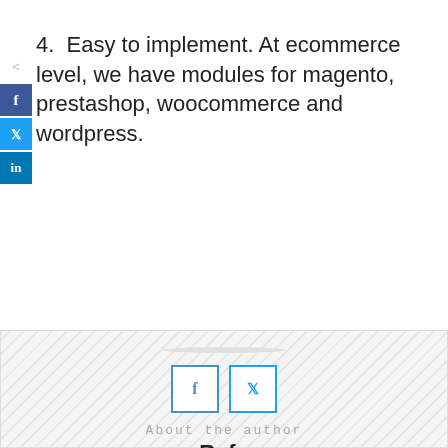4. Easy to implement. At ecommerce level, we have modules for magento, prestashop, woocommerce and wordpress.
[Figure (photo): Circular profile photo of a man (Rafa) with dark hair and beard, wearing a black shirt, against a light background. Below the photo are Facebook and Twitter icon buttons. Text reads 'About the author' and 'Rafa'.]